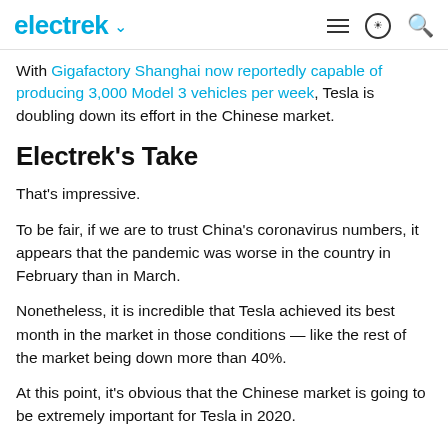electrek
With Gigafactory Shanghai now reportedly capable of producing 3,000 Model 3 vehicles per week, Tesla is doubling down its effort in the Chinese market.
Electrek's Take
That's impressive.
To be fair, if we are to trust China's coronavirus numbers, it appears that the pandemic was worse in the country in February than in March.
Nonetheless, it is incredible that Tesla achieved its best month in the market in those conditions — like the rest of the market being down more than 40%.
At this point, it's obvious that the Chinese market is going to be extremely important for Tesla in 2020.